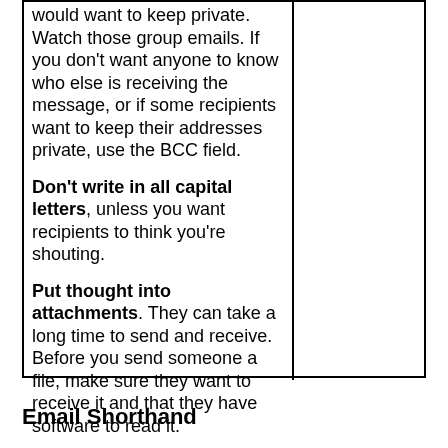would want to keep private. Watch those group emails. If you don't want anyone to know who else is receiving the message, or if some recipients want to keep their addresses private, use the BCC field.
Don't write in all capital letters, unless you want recipients to think you're shouting.
Put thought into attachments. They can take a long time to send and receive. Before you send someone a file, make sure they want to receive it and that they have software to read it.
Email Shorthand